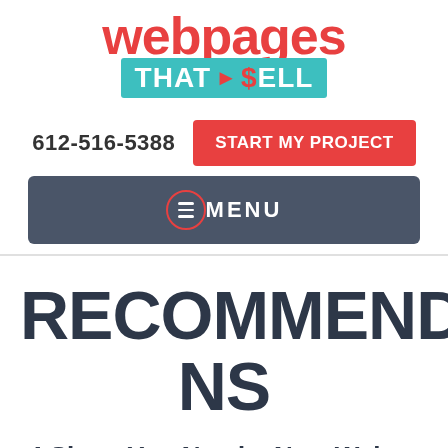[Figure (logo): Webpages That Sell logo — red bold text 'webpages' on top, teal banner with 'THAT ► $ELL' below]
612-516-5388
START MY PROJECT
MENU
RECOMMENDATIONS
4 Signs You Need a New Web